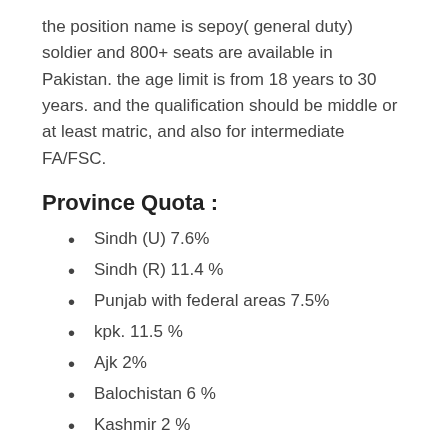the position name is sepoy( general duty) soldier and 800+ seats are available in Pakistan. the age limit is from 18 years to 30 years. and the qualification should be middle or at least matric, and also for intermediate FA/FSC.
Province Quota :
Sindh (U) 7.6%
Sindh (R) 11.4 %
Punjab with federal areas 7.5%
kpk. 11.5 %
Ajk 2%
Balochistan 6 %
Kashmir 2 %
Gilgit 1%
Fata. 3%
This is the given quota for each given province, candidates can apply from all over Pakistan according to the given